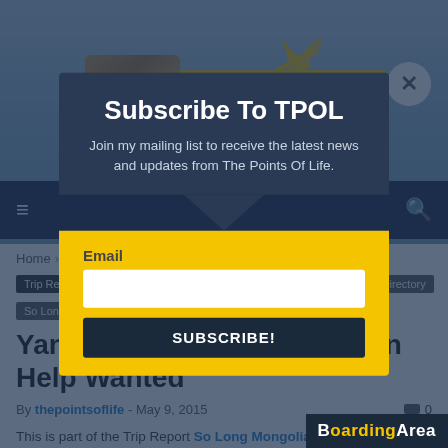[Figure (screenshot): Website header screenshot of 'The Points Of Life' travel blog with logo, navigation bar, breadcrumb, article tags, title 'Yangon Hotels: Construction Help Wanted', byline, and a newsletter subscription modal overlay]
The Points Of Life
Home › Trip Reviews › HOTEL REVIEWS
Trip Reviews | HOTEL REVIEWS | World Map | Myanmar | Trip Directory | So Long Mongolia, Hello SE Asia | Yangon
Yangon Hotels: Construction Help Wanted
By thepointsoflife - May 9, 2015  0
This is part of the Trip Report So Long Mongolia, Hello SE Asia (December-January 2015) which co
Subscribe To TPOL
Join my mailing list to receive the latest news and updates from The Points Of Life.
Email
SUBSCRIBE!